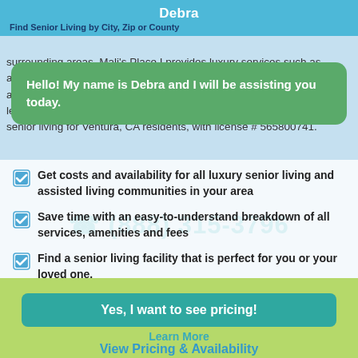Debra
Find Senior Living by City, Zip or County
[Figure (screenshot): Chat interface screenshot showing a green chat bubble from Debra and a white overlay panel with checklist items and a CTA button]
Hello! My name is Debra and I will be assisting you today.
Get costs and availability for all luxury senior living and assisted living communities in your area
Save time with an easy-to-understand breakdown of all services, amenities and fees
Find a senior living facility that is perfect for you or your loved one.
(888) 315-3796
Yes, I want to see pricing!
Learn More
View Pricing & Availability